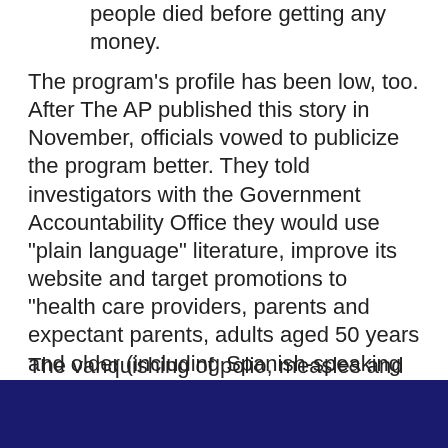people died before getting any money.
The program’s profile has been low, too. After The AP published this story in November, officials vowed to publicize the program better. They told investigators with the Government Accountability Office they would use “plain language” literature, improve its website and target promotions to “health care providers, parents and expectant parents, adults aged 50 years and older (including Spanish-speaking older adults), and civil litigation and health attorneys.”
The vanquishing of polio, measles and other preventable diseases was the transcendent